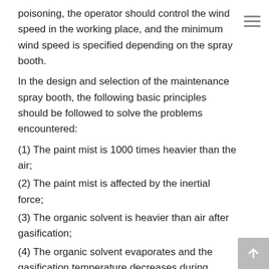poisoning, the operator should control the wind speed in the working place, and the minimum wind speed is specified depending on the spray booth.
In the design and selection of the maintenance spray booth, the following basic principles should be followed to solve the problems encountered:
(1) The paint mist is 1000 times heavier than the air;
(2) The paint mist is affected by the inertial force;
(3) The organic solvent is heavier than air after gasification;
(4) The organic solvent evaporates and the gasification temperature decreases during spraying;
(5) The paint mist of the organic solvent type coating is not dissolved in water, and is wrapped by water. The waterborne paint mist can be dissolved in water; it is regenerated or agglomerated with a special coagulant;
(6) After the paint is dried, it becomes paint dust. Halve the